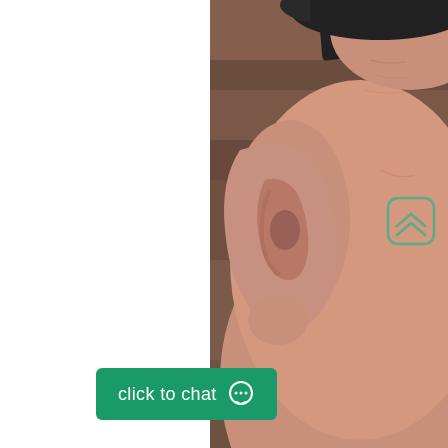[Figure (photo): Close-up photograph of a man's ear and side of face/cheek, with blurred brick background. A small scroll-to-top button with double chevron icon is overlaid on the cheek area. A white panel occupies the left portion of the image.]
click to chat